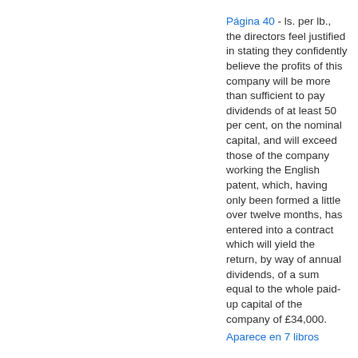Página 40 - ls. per lb., the directors feel justified in stating they confidently believe the profits of this company will be more than sufficient to pay dividends of at least 50 per cent, on the nominal capital, and will exceed those of the company working the English patent, which, having only been formed a little over twelve months, has entered into a contract which will yield the return, by way of annual dividends, of a sum equal to the whole paid-up capital of the company of £34,000.
Aparece en 7 libros